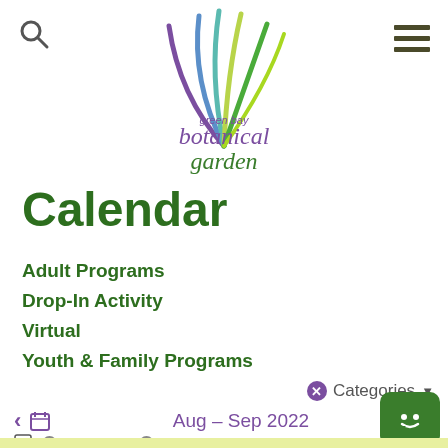[Figure (logo): Green Bay Botanical Garden logo with colorful leaf/plant fronds and text 'green bay botanical garden']
Calendar
Adult Programs
Drop-In Activity
Virtual
Youth & Family Programs
✕ Categories ▾
‹ 🗓 Aug – Sep 2022 ›
🖨 ⊖ Collapse All ⊕ Expand All